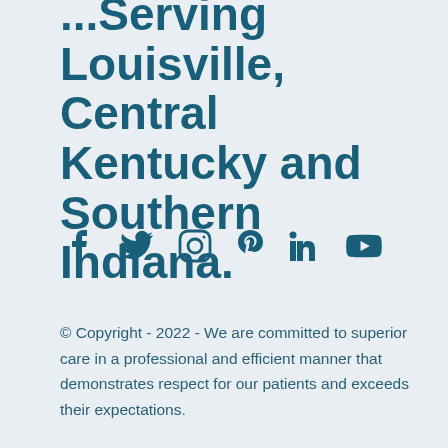... Serving Louisville, Central Kentucky and Southern Indiana.
[Figure (infographic): Row of social media icons: Facebook, Twitter, Instagram, Pinterest, LinkedIn, YouTube]
© Copyright - 2022 - We are committed to superior care in a professional and efficient manner that demonstrates respect for our patients and exceeds their expectations.